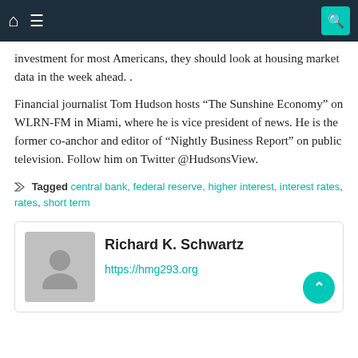Navigation bar with home, menu, and search icons
investment for most Americans, they should look at housing market data in the week ahead. .
Financial journalist Tom Hudson hosts “The Sunshine Economy” on WLRN-FM in Miami, where he is vice president of news. He is the former co-anchor and editor of “Nightly Business Report” on public television. Follow him on Twitter @HudsonsView.
Tagged central bank, federal reserve, higher interest, interest rates, short term
Richard K. Schwartz
https://hmg293.org